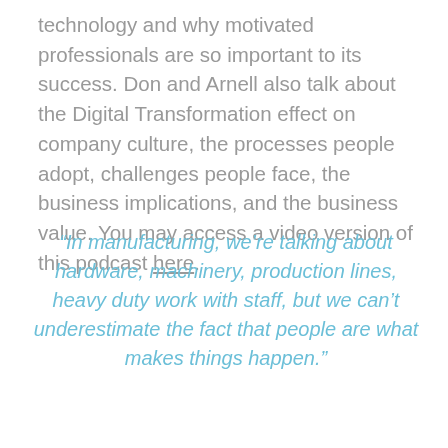technology and why motivated professionals are so important to its success. Don and Arnell also talk about the Digital Transformation effect on company culture, the processes people adopt, challenges people face, the business implications, and the business value. You may access a video version of this podcast here.
“In manufacturing, we’re talking about hardware, machinery, production lines, heavy duty work with staff, but we can’t underestimate the fact that people are what makes things happen.”